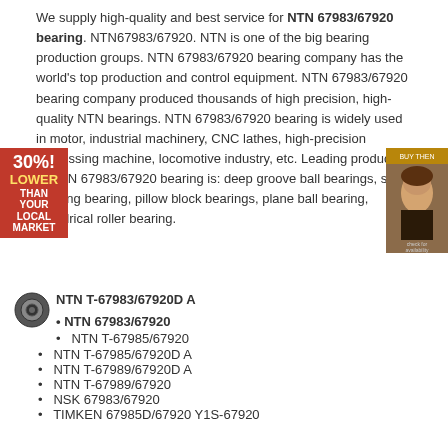We supply high-quality and best service for NTN 67983/67920 bearing. NTN67983/67920. NTN is one of the big bearing production groups. NTN 67983/67920 bearing company has the world's top production and control equipment. NTN 67983/67920 bearing company produced thousands of high precision, high-quality NTN bearings. NTN 67983/67920 bearing is widely used in motor, industrial machinery, CNC lathes, high-precision processing machine, locomotive industry, etc. Leading products of NTN 67983/67920 bearing is: deep groove ball bearings, self-aligning bearing, pillow block bearings, plane ball bearing, cylindrical roller bearing.
[Figure (infographic): Red advertisement block reading 30% LOWER THAN YOUR LOCAL MARKET]
[Figure (photo): Small photo of a woman's face on brown background with text overlay]
NTN T-67983/67920D A
NTN 67983/67920
NTN T-67985/67920
NTN T-67985/67920D A
NTN T-67989/67920D A
NTN T-67989/67920
NSK 67983/67920
TIMKEN 67985D/67920 Y1S-67920
Packaging Details :
1 . Industrial tube packing + cartons + pallets
2 . Individual colorful or white box + carton + pallets
3 . As the clients ' requirement